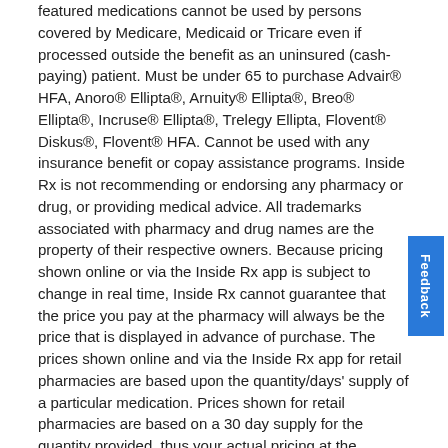featured medications cannot be used by persons covered by Medicare, Medicaid or Tricare even if processed outside the benefit as an uninsured (cash-paying) patient. Must be under 65 to purchase Advair® HFA, Anoro® Ellipta®, Arnuity® Ellipta®, Breo® Ellipta®, Incruse® Ellipta®, Trelegy Ellipta, Flovent® Diskus®, Flovent® HFA. Cannot be used with any insurance benefit or copay assistance programs. Inside Rx is not recommending or endorsing any pharmacy or drug, or providing medical advice. All trademarks associated with pharmacy and drug names are the property of their respective owners. Because pricing shown online or via the Inside Rx app is subject to change in real time, Inside Rx cannot guarantee that the price you pay at the pharmacy will always be the price that is displayed in advance of purchase. The prices shown online and via the Inside Rx app for retail pharmacies are based upon the quantity/days' supply of a particular medication. Prices shown for retail pharmacies are based on a 30 day supply for the quantity provided, thus your actual pricing at the pharmacy may vary depending upon the days' supply provided for by your prescription on your specific prescription. Prices shown for The Express Scripts Pharmacy for Inside Rx are based on a 90 days' supply and may be subject to change if your prescription is for a days' supply that is less than 35 days. Estimated retail prices, when available, reflect average retail prices for cash-paying purchasers based on Inside Rx data, which may change in real time. See full terms